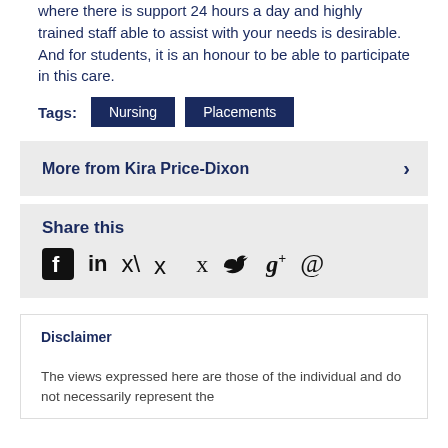where there is support 24 hours a day and highly trained staff able to assist with your needs is desirable. And for students, it is an honour to be able to participate in this care.
Tags: Nursing  Placements
More from Kira Price-Dixon
Share this
Disclaimer
The views expressed here are those of the individual and do not necessarily represent the